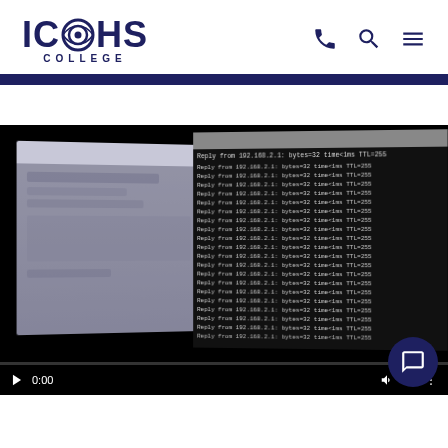[Figure (logo): ICOHS College logo with eye symbol in dark navy blue]
[Figure (screenshot): Video player showing a dark computer screen with a terminal window displaying repeated ping output lines 'Reply from 192.168.2.1: bytes=32 time<1ms TTL=255' alongside a blurred browser window. Controls show play button, 0:00 timestamp, and volume/fullscreen icons.]